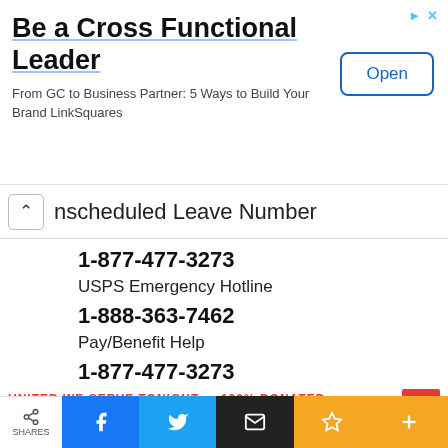[Figure (screenshot): Advertisement banner: 'Be a Cross Functional Leader' with subtitle 'From GC to Business Partner: 5 Ways to Build Your Brand LinkSquares' and an 'Open' button]
Unscheduled Leave Number
1-877-477-3273
USPS Emergency Hotline
1-888-363-7462
Pay/Benefit Help
1-877-477-3273
SHARES | Facebook | Twitter | Email | Bookmark | Plus